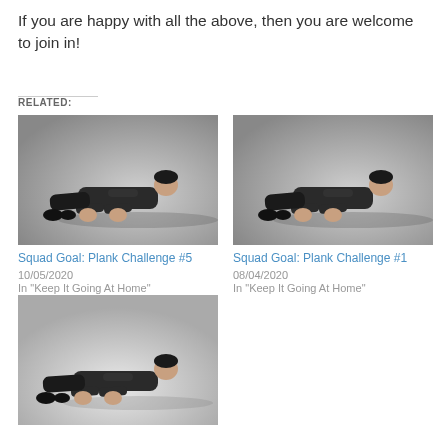If you are happy with all the above, then you are welcome to join in!
RELATED:
[Figure (photo): Man doing a plank exercise on the floor, gray background]
Squad Goal: Plank Challenge #5
10/05/2020
In "Keep It Going At Home"
[Figure (photo): Man doing a plank exercise on the floor, gray background]
Squad Goal: Plank Challenge #1
08/04/2020
In "Keep It Going At Home"
[Figure (photo): Man doing a plank exercise on the floor, white background]